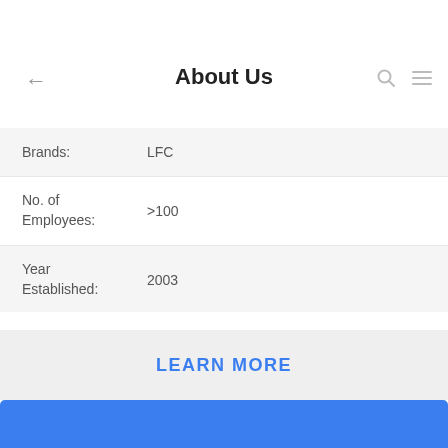Main Market: North America,South America,Western Europe,Eastern Europe,Eastern Asia,Southeast Asia,Middle East,Worldwide
About Us
| Field | Value |
| --- | --- |
| Brands: | LFC |
| No. of Employees: | >100 |
| Year Established: | 2003 |
| Export p.c: | 80% - 90% |
Factory Tour
Quality Control
LEARN MORE